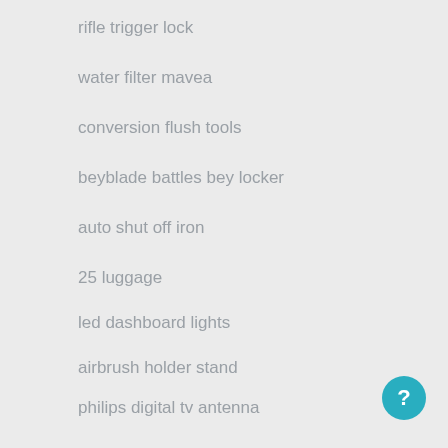rifle trigger lock
water filter mavea
conversion flush tools
beyblade battles bey locker
auto shut off iron
25 luggage
led dashboard lights
airbrush holder stand
philips digital tv antenna
citizen eco drive watch band
safe straw